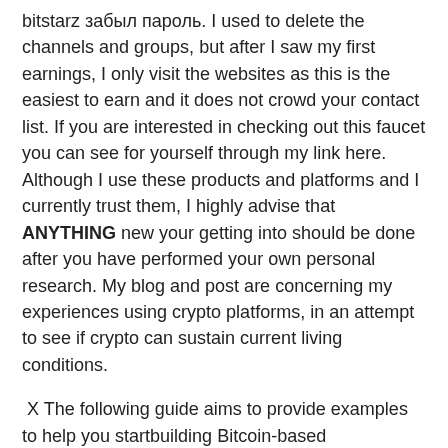bitstarz забыл пароль. I used to delete the channels and groups, but after I saw my first earnings, I only visit the websites as this is the easiest to earn and it does not crowd your contact list. If you are interested in checking out this faucet you can see for yourself through my link here. Although I use these products and platforms and I currently trust them, I highly advise that ANYTHING new your getting into should be done after you have performed your own personal research. My blog and post are concerning my experiences using crypto platforms, in an attempt to see if crypto can sustain current living conditions.
X The following guide aims to provide examples to help you startbuilding Bitcoin-based applications. To make the best use of this document,you may want to install the current version of Bitcoin Core, either from source or from a pre-compiled executable